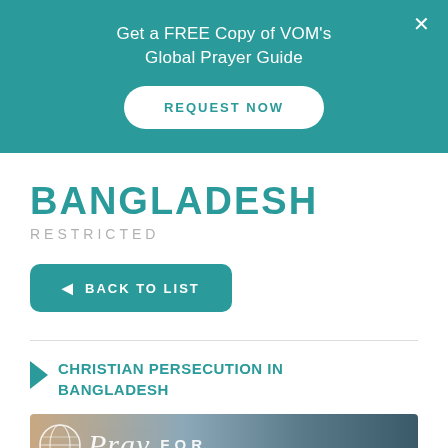Get a FREE Copy of VOM's Global Prayer Guide
REQUEST NOW
BANGLADESH
RESTRICTED
◄ BACK TO LIST
CHRISTIAN PERSECUTION IN BANGLADESH
[Figure (photo): Partial image of a prayer guide book cover with a globe icon, cursive text 'Pray', and the word 'FOR' in uppercase letters on a teal and beige background.]